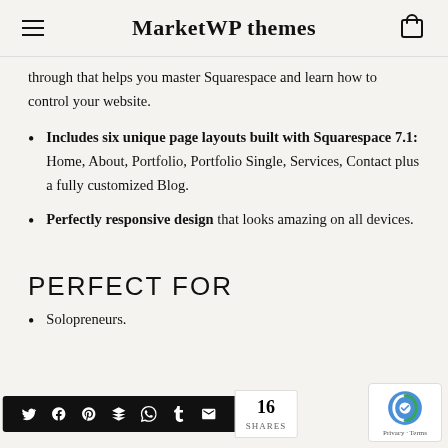MarketWP themes
through that helps you master Squarespace and learn how to control your website.
Includes six unique page layouts built with Squarespace 7.1: Home, About, Portfolio, Portfolio Single, Services, Contact plus a fully customized Blog.
Perfectly responsive design that looks amazing on all devices.
PERFECT FOR
Solopreneurs.